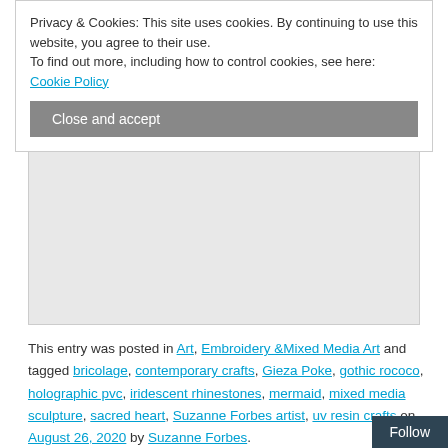Privacy & Cookies: This site uses cookies. By continuing to use this website, you agree to their use.
To find out more, including how to control cookies, see here: Cookie Policy
Close and accept
[Figure (other): Gray placeholder image area for an embedded media element]
This entry was posted in Art, Embroidery &Mixed Media Art and tagged bricolage, contemporary crafts, Gieza Poke, gothic rococo, holographic pvc, iridescent rhinestones, mermaid, mixed media sculpture, sacred heart, Suzanne Forbes artist, uv resin crafts on August 26, 2020 by Suzanne Forbes.
Follow